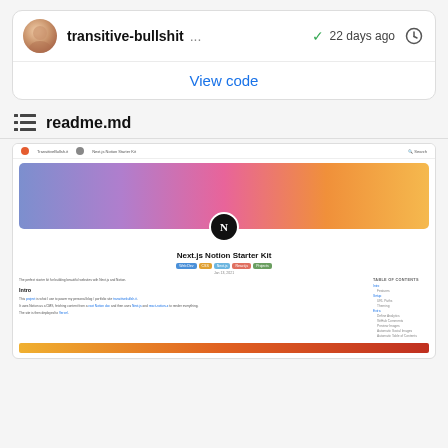[Figure (screenshot): GitHub-style repository card showing 'transitive-bullshit' with avatar, checkmark, '22 days ago', clock icon, and 'View code' link button]
readme.md
[Figure (screenshot): Screenshot of a website/blog showing 'Next.js Notion Starter Kit' with gradient banner, N logo, tags (Web Dev, CSS, Next.js, React.js, Projects), date Jan 13 2021, intro text, and a table of contents sidebar]